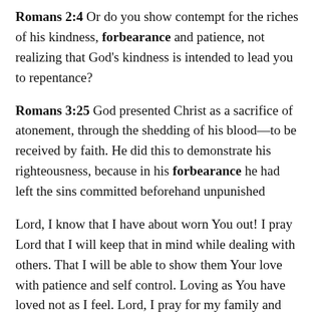Romans 2:4 Or do you show contempt for the riches of his kindness, forbearance and patience, not realizing that God's kindness is intended to lead you to repentance?
Romans 3:25 God presented Christ as a sacrifice of atonement, through the shedding of his blood—to be received by faith. He did this to demonstrate his righteousness, because in his forbearance he had left the sins committed beforehand unpunished
Lord, I know that I have about worn You out!  I pray Lord that I will keep that in mind while dealing with others.  That I will be able to show them Your love with patience and self control.  Loving as You have loved not as I feel.  Lord, I pray for my family and friends.  I pray they will come to You with the understanding that You have already died for them so they have